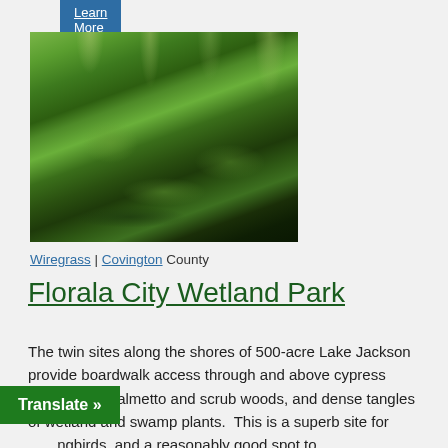Learn More
[Figure (photo): Photo of cypress trees draped with Spanish moss and dense green vegetation along the shores of a wetland in Florala, Alabama]
Wiregrass | Covington County
Florala City Wetland Park
The twin sites along the shores of 500-acre Lake Jackson provide boardwalk access through and above cypress hammocks, palmetto and scrub woods, and dense tangles of wetland and swamp plants. This is a superb site for [hummingbirds], and a reasonably good spot to